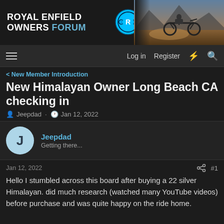[Figure (logo): Royal Enfield Owners Forum banner with logo text, circular RE badge icon, and motorcycle riding image on right]
Log in  Register
< New Member Introduction
New Himalayan Owner Long Beach CA checking in
Jeepdad · Jan 12, 2022
Jeepdad
Getting there...
Jan 12, 2022  #1
Hello I stumbled across this board after buying a 22 silver Himalayan. did much research (watched many YouTube videos) before purchase and was quite happy on the ride home.